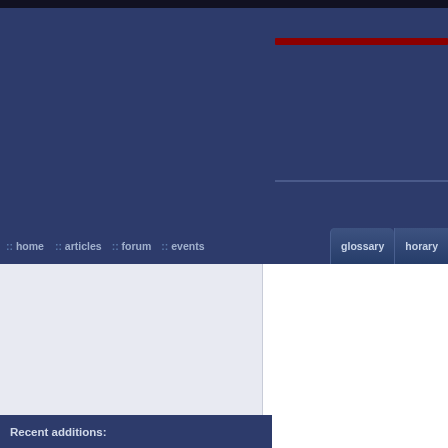Skyscript.co.uk website header with navigation
:: home  :: articles  :: forum  :: events  glossary  horary
Memberlist
Profile
Log In / Out
Skyscript.co.uk Forum Index
Login and Registration Issues
Why can't I log in?
Why do I need to register at all?
Why do I get logged off automatically?
I've lost my password!
I registered but cannot log in!
I registered in the past but cannot log in anymore!
User Preferences and settings
How do I change my settings?
The times are not correct!
I changed the timezone and the time is still wrong!
How do I show an image below my username?
How do I change my rank?
Recent additions: